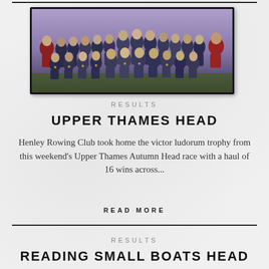[Figure (photo): Group photo of Henley Rowing Club members standing/sitting in rows outdoors under a purple-grey sky, many wearing medals]
RESULTS
UPPER THAMES HEAD
Henley Rowing Club took home the victor ludorum trophy from this weekend's Upper Thames Autumn Head race with a haul of 16 wins across...
READ MORE
RESULTS
READING SMALL BOATS HEAD